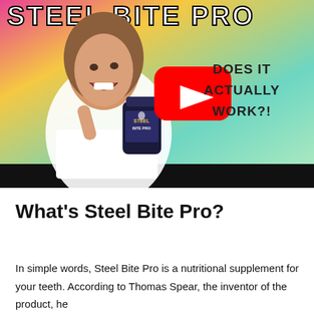[Figure (screenshot): YouTube video thumbnail for 'Steel Bite Pro' review. A smiling woman with long brown hair holds a dark bottle labeled 'Steel Bite Pro' and points to her open mouth. A red YouTube play button icon is centered on the image. Text reads 'STEEL BITE PRO' at the top in bold white letters and 'DOES IT ACTUALLY WORK?!' on the right in dark bold text. Background is a colorful gradient (pink, yellow, teal). Below the thumbnail is a black bar.]
What's Steel Bite Pro?
In simple words, Steel Bite Pro is a nutritional supplement for your teeth. According to Thomas Spear, the inventor of the product, he